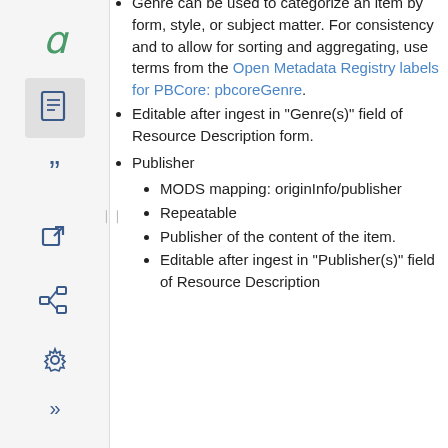[Figure (other): Sidebar navigation with icons: letter 'a' (logo), document icon (active/highlighted), quotation mark icon, external link icon, tree/hierarchy icon, gear/settings icon, double-chevron icon]
Genre can be used to categorize an item by form, style, or subject matter. For consistency and to allow for sorting and aggregating, use terms from the Open Metadata Registry labels for PBCore: pbcoreGenre.
Editable after ingest in "Genre(s)" field of Resource Description form.
Publisher
MODS mapping: originInfo/publisher
Repeatable
Publisher of the content of the item.
Editable after ingest in "Publisher(s)" field of Resource Description